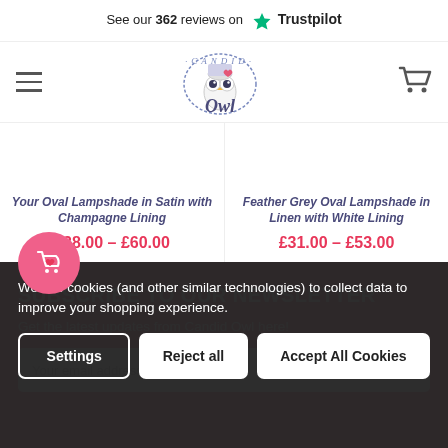See our 362 reviews on Trustpilot
[Figure (logo): Candid Owl logo - circular logo with owl illustration]
Your Oval Lampshade in Satin with Champagne Lining
£38.00 - £60.00
Feather Grey Oval Lampshade in Linen with White Lining
£31.00 - £53.00
SUBSCRIBE TO OUR NEWSLETTER
Get the latest updates from Candid Owl here!
Your email address
We use cookies (and other similar technologies) to collect data to improve your shopping experience.
Settings
Reject all
Accept All Cookies